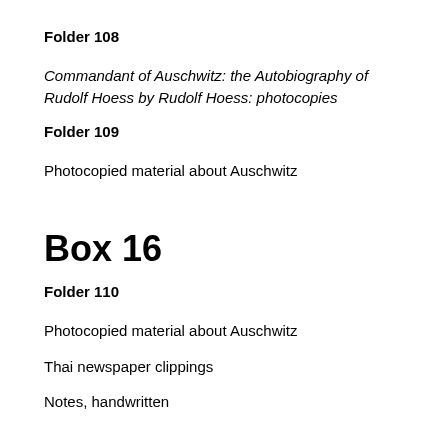Folder 108
Commandant of Auschwitz: the Autobiography of Rudolf Hoess by Rudolf Hoess: photocopies
Folder 109
Photocopied material about Auschwitz
Box 16
Folder 110
Photocopied material about Auschwitz
Thai newspaper clippings
Notes, handwritten